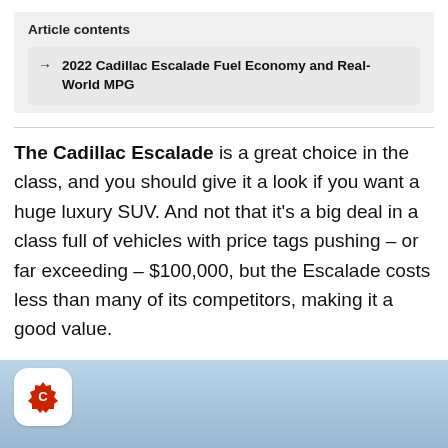Article contents
2022 Cadillac Escalade Fuel Economy and Real-World MPG
The Cadillac Escalade is a great choice in the class, and you should give it a look if you want a huge luxury SUV. And not that it's a big deal in a class full of vehicles with price tags pushing – or far exceeding – $100,000, but the Escalade costs less than many of its competitors, making it a good value.
[Figure (screenshot): Bottom image showing a blue gradient background with a red Carfax-style logo badge in the bottom left corner.]